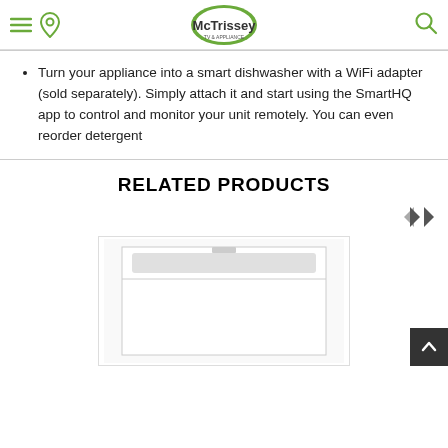McTrissey TV & Appliance header navigation
Turn your appliance into a smart dishwasher with a WiFi adapter (sold separately). Simply attach it and start using the SmartHQ app to control and monitor your unit remotely. You can even reorder detergent
RELATED PRODUCTS
[Figure (photo): Navigation arrow buttons (left and right) for carousel]
[Figure (photo): White dishwasher product image in related products carousel]